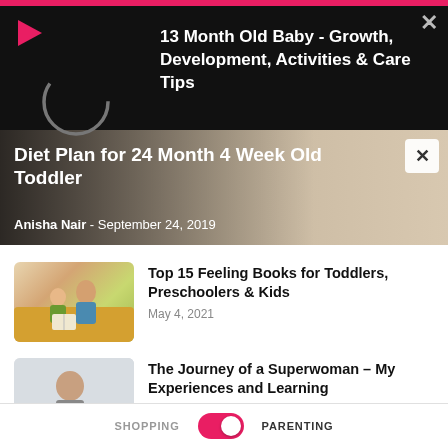[Figure (screenshot): Notification bar with play icon, loading spinner, and article title '13 Month Old Baby - Growth, Development, Activities & Care Tips' on black background]
13 Month Old Baby - Growth, Development, Activities & Care Tips
[Figure (photo): Hero banner image: Diet Plan for 24 Month 4 Week Old Toddler article with dark overlay]
Diet Plan for 24 Month 4 Week Old Toddler
Anisha Nair - September 24, 2019
[Figure (photo): Thumbnail of mother and child reading a book on a yellow sofa]
Top 15 Feeling Books for Toddlers, Preschoolers & Kids
May 4, 2021
[Figure (photo): Thumbnail of a woman looking stressed or thoughtful, writing]
The Journey of a Superwoman – My Experiences and Learning
March 20, 2019
[Figure (photo): Thumbnail of a baby's arms]
Why Are My Baby's Arms So Restless?
SHOPPING    [toggle]    PARENTING